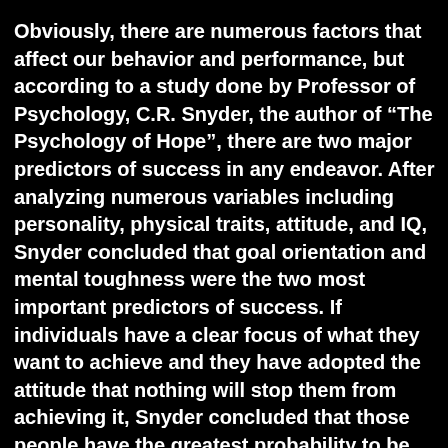Obviously, there are numerous factors that affect our behavior and performance, but according to a study done by Professor of Psychology, C.R. Snyder, the author of "The Psychology of Hope", there are two major predictors of success in any endeavor. After analyzing numerous variables including personality, physical traits, attitude, and IQ, Snyder concluded that goal orientation and mental toughness were the two most important predictors of success. If individuals have a clear focus of what they want to achieve and they have adopted the attitude that nothing will stop them from achieving it, Snyder concluded that those people have the greatest probability to be successful. Read more...